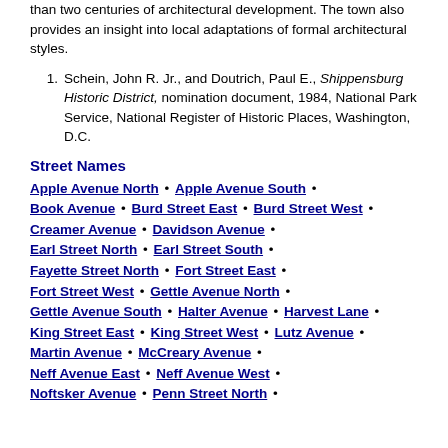than two centuries of architectural development. The town also provides an insight into local adaptations of formal architectural styles.
Schein, John R. Jr., and Doutrich, Paul E., Shippensburg Historic District, nomination document, 1984, National Park Service, National Register of Historic Places, Washington, D.C.
Street Names
Apple Avenue North • Apple Avenue South • Book Avenue • Burd Street East • Burd Street West • Creamer Avenue • Davidson Avenue • Earl Street North • Earl Street South • Fayette Street North • Fort Street East • Fort Street West • Gettle Avenue North • Gettle Avenue South • Halter Avenue • Harvest Lane • King Street East • King Street West • Lutz Avenue • Martin Avenue • McCreary Avenue • Neff Avenue East • Neff Avenue West • Noftsker Avenue • Penn Street North •